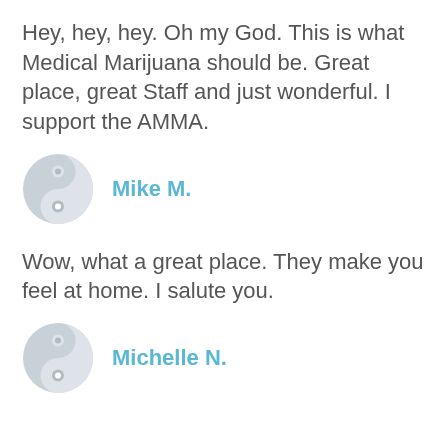Hey, hey, hey. Oh my God. This is what Medical Marijuana should be. Great place, great Staff and just wonderful. I support the AMMA.
[Figure (illustration): Yin-yang style avatar icon in light gray tones]
Mike M.
Wow, what a great place. They make you feel at home. I salute you.
[Figure (illustration): Yin-yang style avatar icon in light gray tones]
Michelle N.